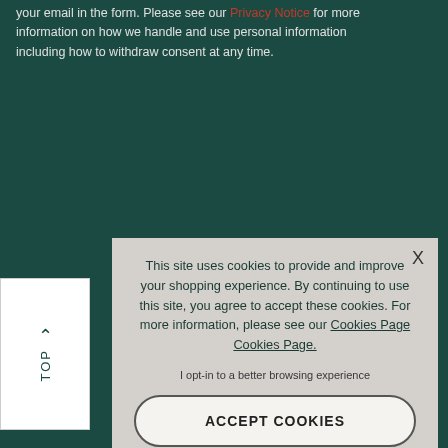your email in the form. Please see our Privacy Notice for more information on how we handle and use personal information including how to withdraw consent at any time.
[Figure (screenshot): Cookie consent modal overlay on a dark teal website background. The modal contains cookie usage text, links to Cookies Page, an opt-in statement, and an ACCEPT COOKIES button. A 'Back to Top' button with an upward arrow is visible on the left. 'Site Map' link is at the bottom.]
This site uses cookies to provide and improve your shopping experience. By continuing to use this site, you agree to accept these cookies. For more information, please see our Cookies Page Cookies Page.
I opt-in to a better browsing experience
ACCEPT COOKIES
Site Map